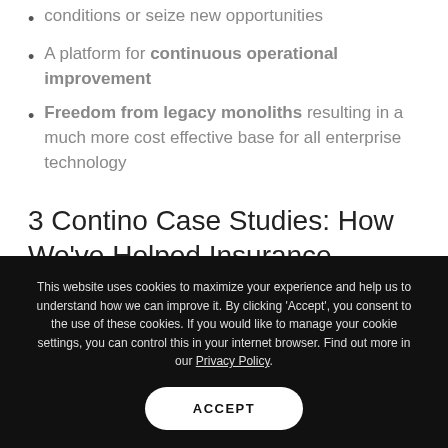conditions or seize new opportunities
A platform for continuous operational improvement
Freedom from legacy monoliths resulting in a much more cost effective base for all enterprise technology
3 Contino Case Studies: How We've Helped Insurance Companies Become Cloud Native
This website uses cookies to maximize your experience and help us to understand how we can improve it. By clicking 'Accept', you consent to the use of these cookies. If you would like to manage your cookie settings, you can control this in your internet browser. Find out more in our Privacy Policy.
ACCEPT